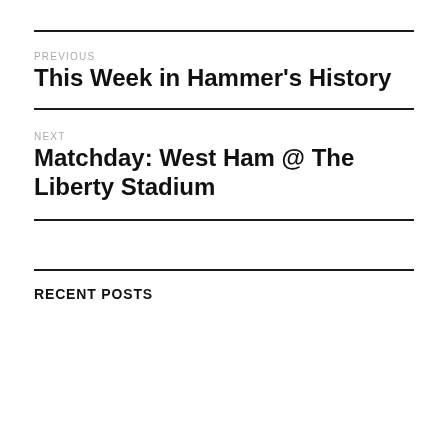PREVIOUS
This Week in Hammer's History
NEXT
Matchday: West Ham @ The Liberty Stadium
RECENT POSTS